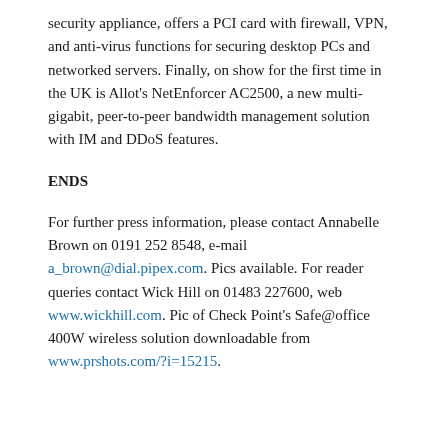security appliance, offers a PCI card with firewall, VPN, and anti-virus functions for securing desktop PCs and networked servers. Finally, on show for the first time in the UK is Allot's NetEnforcer AC2500, a new multi-gigabit, peer-to-peer bandwidth management solution with IM and DDoS features.
ENDS
For further press information, please contact Annabelle Brown on 0191 252 8548, e-mail a_brown@dial.pipex.com. Pics available. For reader queries contact Wick Hill on 01483 227600, web www.wickhill.com. Pic of Check Point's Safe@office 400W wireless solution downloadable from www.prshots.com/?i=15215.